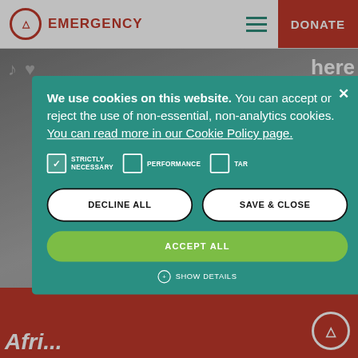EMERGENCY | DONATE
[Figure (screenshot): Website background showing a hospital/medical image with partially visible text 'here' and 'ple.' and 'RE FOR' in large bold text, with a red footer area showing italic text and Emergency logo]
We use cookies on this website. You can accept or reject the use of non-essential, non-analytics cookies. You can read more in our Cookie Policy page.
STRICTLY NECESSARY  PERFORMANCE  TAR[GETING]
DECLINE ALL  SAVE & CLOSE
ACCEPT ALL
SHOW DETAILS